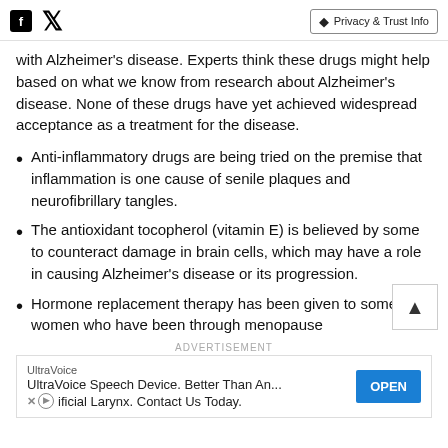Social icons (Facebook, Twitter) | Privacy & Trust Info
with Alzheimer's disease. Experts think these drugs might help based on what we know from research about Alzheimer's disease. None of these drugs have yet achieved widespread acceptance as a treatment for the disease.
Anti-inflammatory drugs are being tried on the premise that inflammation is one cause of senile plaques and neurofibrillary tangles.
The antioxidant tocopherol (vitamin E) is believed by some to counteract damage in brain cells, which may have a role in causing Alzheimer's disease or its progression.
Hormone replacement therapy has been given to some women who have been through menopause
ADVERTISEMENT
UltraVoice
UltraVoice Speech Device. Better Than An... OPEN
Artificial Larynx. Contact Us Today.